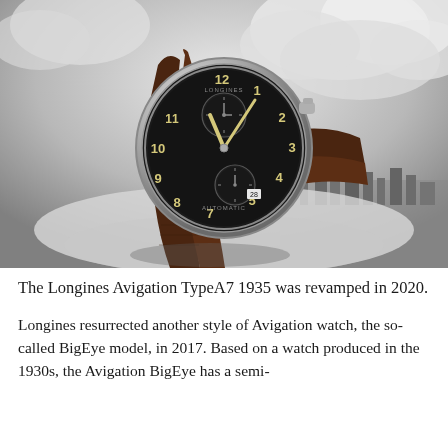[Figure (photo): Black and white photograph showing a Longines Avigation TypeA7 1935 watch with a black dial, cream/gold Arabic numerals, two subdials, and a brown crocodile leather strap, photographed against a dramatic cloudy sky background with a landscape below.]
The Longines Avigation TypeA7 1935 was revamped in 2020.
Longines resurrected another style of Avigation watch, the so-called BigEye model, in 2017. Based on a watch produced in the 1930s, the Avigation BigEye has a semi-